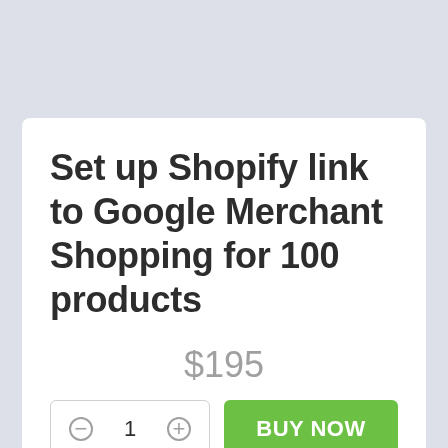Set up Shopify link to Google Merchant Shopping for 100 products
$195
1
BUY NOW